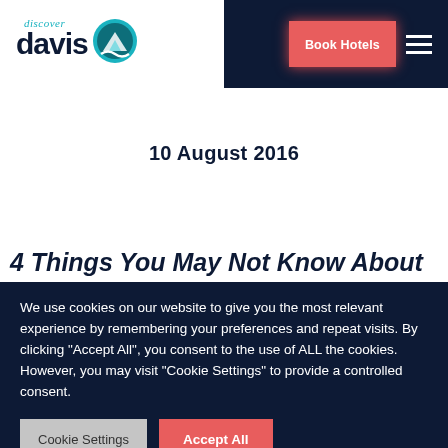[Figure (logo): Discover Davis logo with teal wave/leaf icon and italic 'discover' above bold 'davis' text]
Book Hotels
10 August 2016
4 Things You May Not Know About
We use cookies on our website to give you the most relevant experience by remembering your preferences and repeat visits. By clicking "Accept All", you consent to the use of ALL the cookies. However, you may visit "Cookie Settings" to provide a controlled consent.
Cookie Settings
Accept All